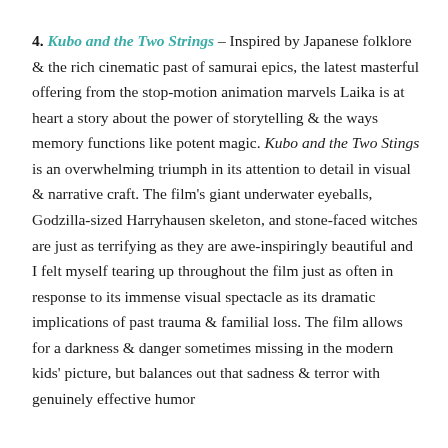4. Kubo and the Two Strings – Inspired by Japanese folklore & the rich cinematic past of samurai epics, the latest masterful offering from the stop-motion animation marvels Laika is at heart a story about the power of storytelling & the ways memory functions like potent magic. Kubo and the Two Stings is an overwhelming triumph in its attention to detail in visual & narrative craft. The film's giant underwater eyeballs, Godzilla-sized Harryhausen skeleton, and stone-faced witches are just as terrifying as they are awe-inspiringly beautiful and I felt myself tearing up throughout the film just as often in response to its immense visual spectacle as its dramatic implications of past trauma & familial loss. The film allows for a darkness & danger sometimes missing in the modern kids' picture, but balances out that sadness & terror with genuinely effective humor